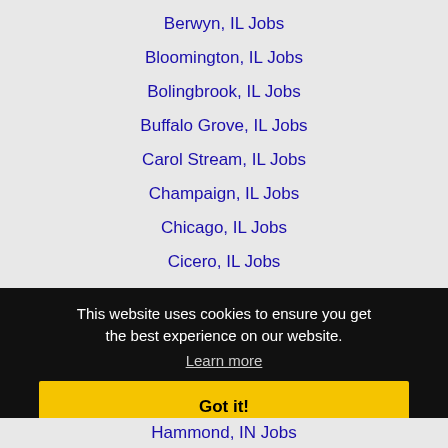Berwyn, IL Jobs
Bloomington, IL Jobs
Bolingbrook, IL Jobs
Buffalo Grove, IL Jobs
Carol Stream, IL Jobs
Champaign, IL Jobs
Chicago, IL Jobs
Cicero, IL Jobs
Crystal Lake, IL Jobs
This website uses cookies to ensure you get the best experience on our website.
Learn more
Got it!
Hammond, IN Jobs